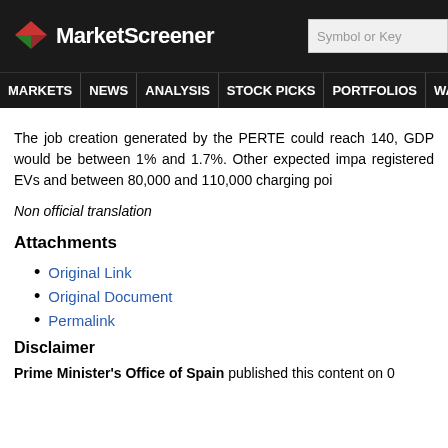MarketScreener — Symbol or Key
MARKETS NEWS ANALYSIS STOCK PICKS PORTFOLIOS WATCHLI
The job creation generated by the PERTE could reach 140, GDP would be between 1% and 1.7%. Other expected impa registered EVs and between 80,000 and 110,000 charging poi
Non official translation
Attachments
Original Link
Original Document
Permalink
Disclaimer
Prime Minister's Office of Spain published this content on 0